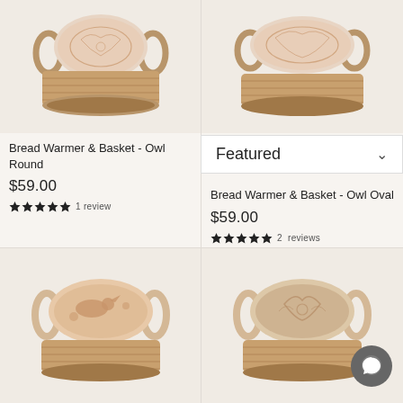[Figure (photo): Bread Warmer & Basket - Owl Round product photo showing a round woven basket with decorative ceramic lid]
[Figure (photo): Bread Warmer & Basket - Owl Oval product photo showing an oval woven basket with decorative ceramic lid]
Bread Warmer & Basket - Owl Round
$59.00
1 review
Featured
Bread Warmer & Basket - Owl Oval
$59.00
2 reviews
[Figure (photo): Bottom left product photo showing a bread warmer basket with oval ceramic lid with bird design]
[Figure (photo): Bottom right product photo showing a bread warmer basket with oval ceramic lid with floral/bird design]